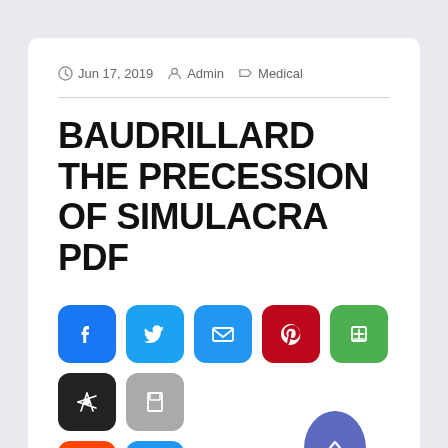Jun 17, 2019  Admin  Medical
BAUDRILLARD THE PRECESSION OF SIMULACRA PDF
[Figure (infographic): Social share buttons: Facebook, Twitter, Email, Pinterest, Add to Reading List, Scoop.it, Save; second row: Reddit, Plus/More; scroll-to-top button (blue teardrop shape with up caret)]